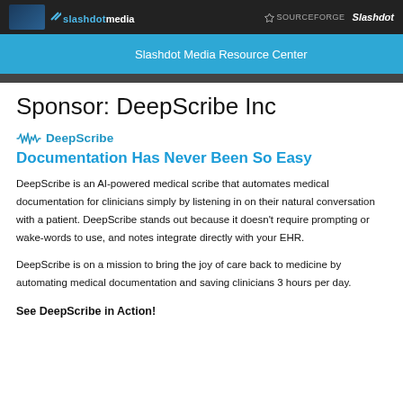slashdot media | SOURCEFORGE | Slashdot
Slashdot Media Resource Center
Sponsor: DeepScribe Inc
[Figure (logo): DeepScribe logo with waveform icon and brand name in blue]
Documentation Has Never Been So Easy
DeepScribe is an AI-powered medical scribe that automates medical documentation for clinicians simply by listening in on their natural conversation with a patient. DeepScribe stands out because it doesn't require prompting or wake-words to use, and notes integrate directly with your EHR.
DeepScribe is on a mission to bring the joy of care back to medicine by automating medical documentation and saving clinicians 3 hours per day.
See DeepScribe in Action!